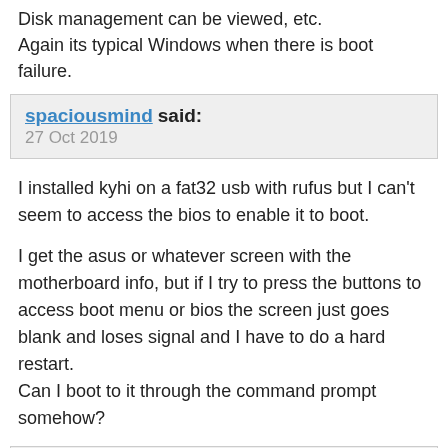Disk management can be viewed, etc.
Again its typical Windows when there is boot failure.
spaciousmind said:
27 Oct 2019
I installed kyhi on a fat32 usb with rufus but I can't seem to access the bios to enable it to boot.

I get the asus or whatever screen with the motherboard info, but if I try to press the buttons to access boot menu or bios the screen just goes blank and loses signal and I have to do a hard restart.
Can I boot to it through the command prompt somehow?
zbook said:
27 Oct 2019
Some options to try: (also see links below)

Try to boot other bootable flash drives.